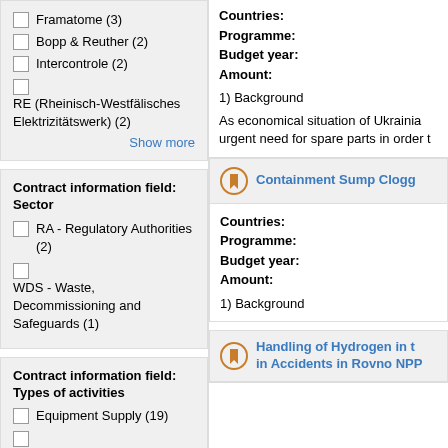Framatome (3)
Bopp & Reuther (2)
Intercontrole (2)
RE (Rheinisch-Westfälisches Elektrizitätswerk) (2)
Show more
Contract information field: Sector
RA - Regulatory Authorities (2)
WDS - Waste, Decommissioning and Safeguards (1)
Contract information field: Types of activities
Equipment Supply (19)
Countries:
Programme:
Budget year:
Amount:
1) Background
As economical situation of Ukrainia urgent need for spare parts in order t
Containment Sump Clogg
Countries:
Programme:
Budget year:
Amount:
1) Background
Handling of Hydrogen in t in Accidents in Rovno NPP